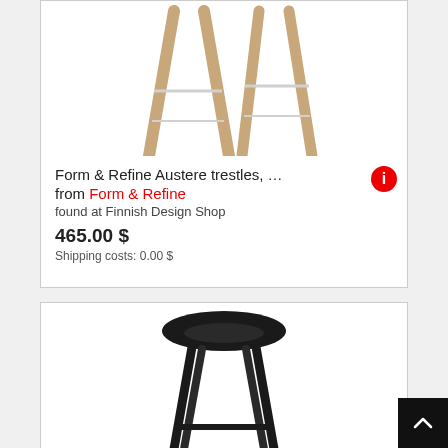[Figure (photo): Form & Refine Austere trestles with wooden legs, partially cropped at top]
Form & Refine Austere trestles, … from Form & Refine found at Finnish Design Shop
465.00 $
Shipping costs: 0.00 $
[Figure (photo): Black stool with saddle seat and four black wooden legs, bottom half visible]